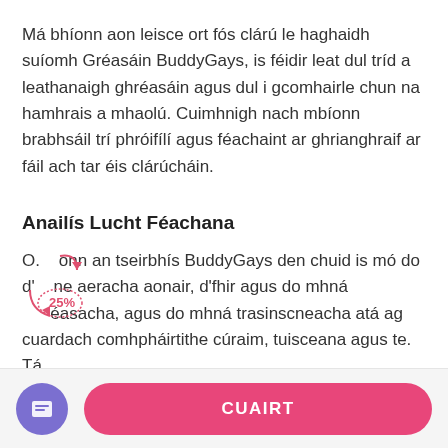Má bhíonn aon leisce ort fós clárú le haghaidh suíomh Gréasáin BuddyGays, is féidir leat dul tríd a leathanaigh ghréasáin agus dul i gcomhairle chun na hamhrais a mhaolú. Cuimhnigh nach mbíonn brabhsáil trí phróifílí agus féachaint ar ghrianghraif ar fáil ach tar éis clárúcháin.
Anailís Lucht Féachana
O. onn an tseirbhís BuddyGays den chuid is mó do d' ne aeracha aonair, d'fhir agus do mhná éasacha, agus do mhná trasinscneacha atá ag cuardach comhpháirtithe cúraim, tuisceana agus te. Tá
[Figure (other): Hand-drawn annotation showing a curved arrow and '25%' label in red/pink ink]
CUAIRT